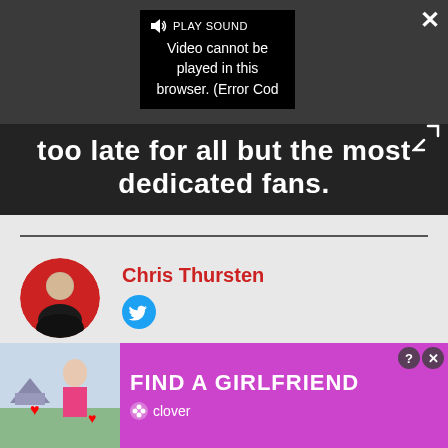[Figure (screenshot): Video player showing error overlay 'Video cannot be played in this browser. (Error Cod' with PLAY SOUND button, close X and expand buttons, and text overlay reading 'too late for all but the most dedicated fans.']
Chris Thursten
[Figure (photo): Circular author avatar photo of Chris Thursten with red background]
[Figure (infographic): Advertisement banner: FIND A GIRLFRIEND - clover, with image of woman on left, purple/magenta background]